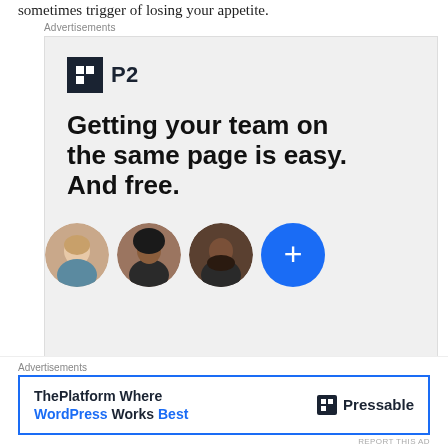sometimes trigger of losing your appetite.
[Figure (screenshot): Advertisement block for P2 product. Contains P2 logo, headline 'Getting your team on the same page is easy. And free.' and three profile photo avatars plus a blue plus button.]
REPORT THIS AD
There is one thing you will definitely notice – the
[Figure (screenshot): Advertisement banner for Pressable - 'ThePlatform Where WordPress Works Best' with Pressable logo on the right.]
REPORT THIS AD